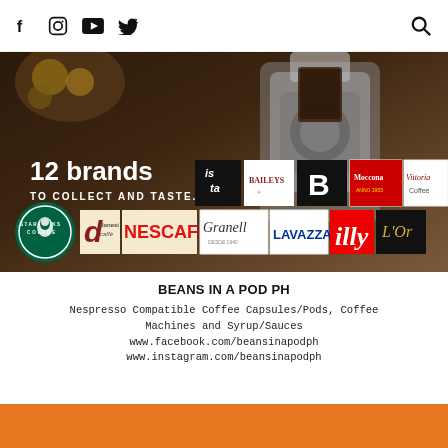Social media navigation bar with icons: Facebook, Instagram, YouTube, Twitter, Search
[Figure (photo): Promotional image for Beans in a Pod PH showing coffee capsules, an espresso machine, and 12 brand logos including Starbucks, Danesi Caffe, Nescafe, Granell, Lavazza, Illy, L'Or, Moccona, Vittoria Coffee, Baileys, and others. Text overlay: '12 brands TO COLLECT AND TASTE.']
BEANS IN A POD PH
Nespresso Compatible Coffee Capsules/Pods, Coffee Machines and Syrup/Sauces
www.facebook.com/beansinapodph
www.instagram.com/beansinapodph
[Figure (other): Orange bar at the bottom of the page]